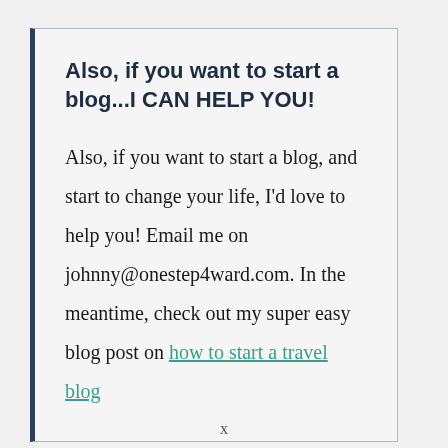Also, if you want to start a blog...I CAN HELP YOU!
Also, if you want to start a blog, and start to change your life, I'd love to help you! Email me on johnny@onestep4ward.com. In the meantime, check out my super easy blog post on how to start a travel blog
x